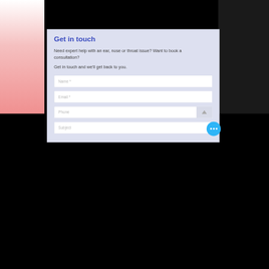Get in touch
Need expert help with an ear, nose or throat issue? Want to book a consultation?
Get in touch and we'll get back to you.
Name *
Email *
Phone
Subject